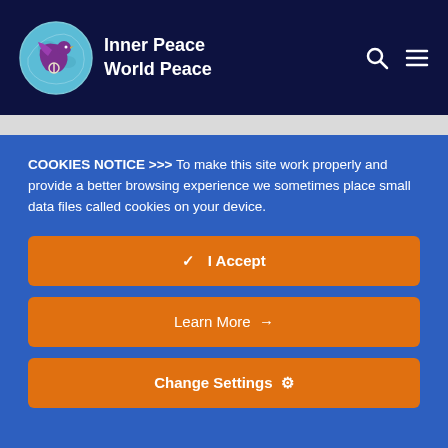Inner Peace World Peace
COOKIES NOTICE >>> To make this site work properly and provide a better browsing experience we sometimes place small data files called cookies on your device.
✔ I Accept
Learn More →
Change Settings ⚙